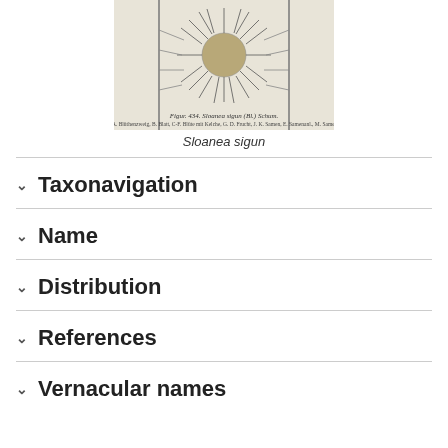[Figure (illustration): Botanical illustration of Sloanea sigun showing the plant with spiny fruit and detailed anatomical parts]
Sloanea sigun
Taxonavigation
Name
Distribution
References
Vernacular names